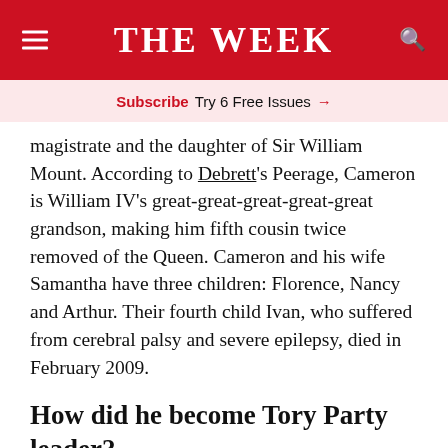THE WEEK
Subscribe  Try 6 Free Issues →
magistrate and the daughter of Sir William Mount. According to Debrett's Peerage, Cameron is William IV's great-great-great-great-great grandson, making him fifth cousin twice removed of the Queen. Cameron and his wife Samantha have three children: Florence, Nancy and Arthur. Their fourth child Ivan, who suffered from cerebral palsy and severe epilepsy, died in February 2009.
How did he become Tory Party leader?
Cameron took over from Michael Howard as leader